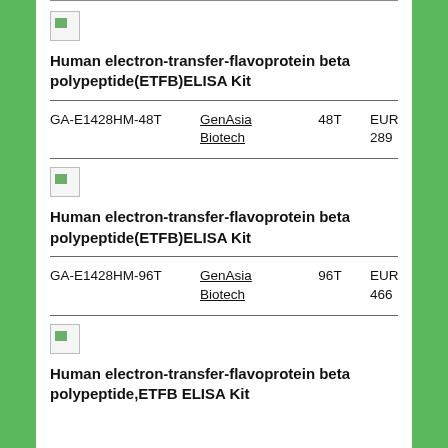[Figure (other): Product image placeholder icon for first ELISA kit]
Human electron-transfer-flavoprotein beta polypeptide(ETFB)ELISA Kit
| Catalog | Vendor | Qty | Price |
| --- | --- | --- | --- |
| GA-E1428HM-48T | GenAsia Biotech | 48T | EUR 289 |
[Figure (other): Product image placeholder icon for second ELISA kit]
Human electron-transfer-flavoprotein beta polypeptide(ETFB)ELISA Kit
| Catalog | Vendor | Qty | Price |
| --- | --- | --- | --- |
| GA-E1428HM-96T | GenAsia Biotech | 96T | EUR 466 |
[Figure (other): Product image placeholder icon for third ELISA kit]
Human electron-transfer-flavoprotein beta polypeptide,ETFB ELISA Kit